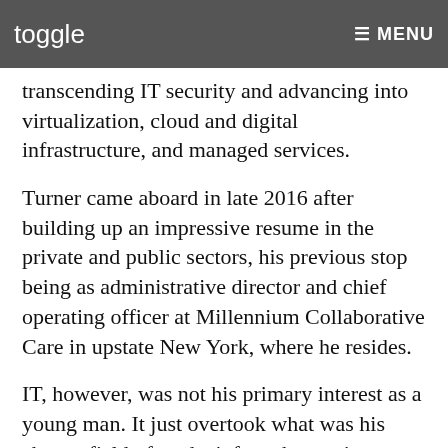toggle   ≡ MENU
500 companies, manufacturers, health care providers and the public sector, its expertise transcending IT security and advancing into virtualization, cloud and digital infrastructure, and managed services.
Turner came aboard in late 2016 after building up an impressive resume in the private and public sectors, his previous stop being as administrative director and chief operating officer at Millennium Collaborative Care in upstate New York, where he resides.
IT, however, was not his primary interest as a young man. It just overtook what was his chosen field of study, info tech seeming more trustworthy